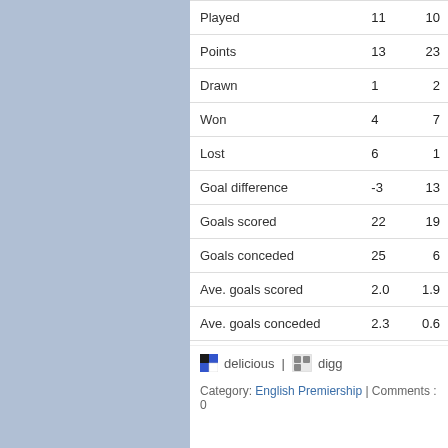|  | Col1 | Col2 |
| --- | --- | --- |
| Played | 11 | 10 |
| Points | 13 | 23 |
| Drawn | 1 | 2 |
| Won | 4 | 7 |
| Lost | 6 | 1 |
| Goal difference | -3 | 13 |
| Goals scored | 22 | 19 |
| Goals conceded | 25 | 6 |
| Ave. goals scored | 2.0 | 1.9 |
| Ave. goals conceded | 2.3 | 0.6 |
delicious | digg
Category: English Premiership | Comments : 0
First vs Third: Man City vs Spurs
Sunday, 22nd January 2012 9:38pm
In round 22 of the English Premiership league leaders M... host Tottenham Hotspurs as first meets third.
A win for the leaders will see them maintain their three p... assuming that Manchester United wins its match against...